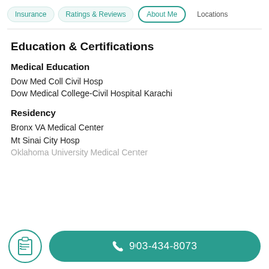Insurance | Ratings & Reviews | About Me | Locations
Education & Certifications
Medical Education
Dow Med Coll Civil Hosp
Dow Medical College-Civil Hospital Karachi
Residency
Bronx VA Medical Center
Mt Sinai City Hosp
Oklahoma University Medical Center
903-434-8073